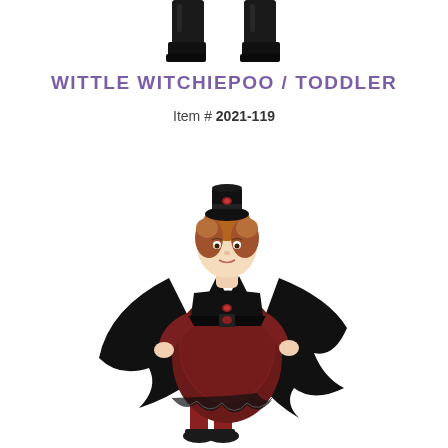[Figure (photo): Partial view of black boots from a previous costume, cropped at top of page]
WITTLE WITCHIEPOO / TODDLER
Item # 2021-119
[Figure (photo): Toddler girl wearing a vampire/witch Halloween costume consisting of a dark red and black dress with bat-wing cape, black collar, and small black top hat with red accent, holding the cape open]